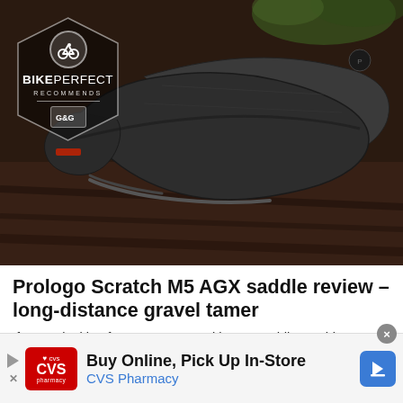[Figure (photo): Prologo Scratch M5 AGX bicycle saddle photographed on a dark wooden surface, with BikePerfect Recommends badge overlay in the top-left corner.]
Prologo Scratch M5 AGX saddle review – long-distance gravel tamer
If you're looking for a sweet spot with your saddle, Lachlan Morton's midrange off-road perch has some ...
Bike Perfect
Buy Online, Pick Up In-Store
CVS Pharmacy